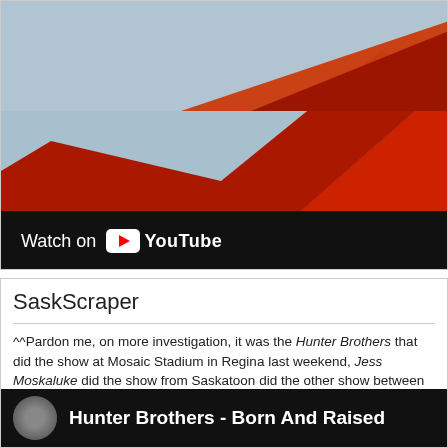[Figure (screenshot): YouTube video thumbnail showing a red and grey abstract shape, with a 'Watch on YouTube' bar at the bottom]
• Video Link
SaskScraper
^^Pardon me, on more investigation, it was the Hunter Brothers that did the show at Mosaic Stadium in Regina last weekend, Jess Moskaluke did the show from Saskatoon did the other show between periods to round out the NHL with Country Music as the main musical entertainment.
Some more current videos of each artist if you haven't heard of them befo
[Figure (screenshot): YouTube video thumbnail showing Hunter Brothers - Born And Raised with artist circle icon]